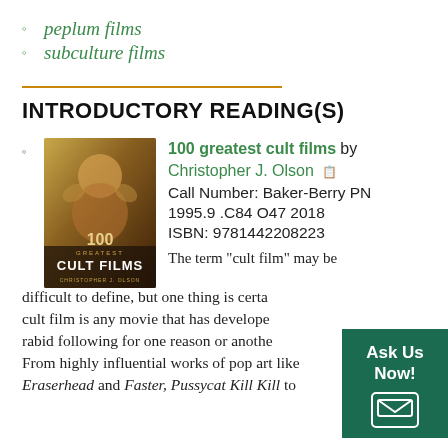peplum films
subculture films
INTRODUCTORY READING(S)
[Figure (illustration): Book cover of '100 Greatest Cult Films' by Christopher J. Olson, showing a stylized figure in sepia tones]
100 greatest cult films by Christopher J. Olson
Call Number: Baker-Berry PN 1995.9 .C84 O47 2018
ISBN: 9781442208223
The term "cult film" may be difficult to define, but one thing is certain: a cult film is any movie that has developed a rabid following for one reason or another. From highly influential works of pop art like Eraserhead and Faster, Pussycat Kill Kill to